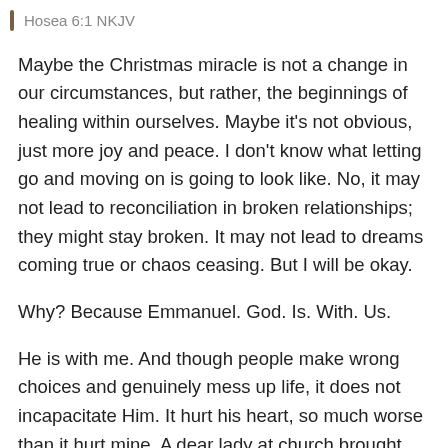Hosea 6:1 NKJV
Maybe the Christmas miracle is not a change in our circumstances, but rather, the beginnings of healing within ourselves. Maybe it’s not obvious, just more joy and peace. I don’t know what letting go and moving on is going to look like. No, it may not lead to reconciliation in broken relationships; they might stay broken. It may not lead to dreams coming true or chaos ceasing. But I will be okay.
Why? Because Emmanuel. God. Is. With. Us.
He is with me. And though people make wrong choices and genuinely mess up life, it does not incapacitate Him. It hurt his heart, so much worse than it hurt mine. A dear lady at church brought out this truth: His heart